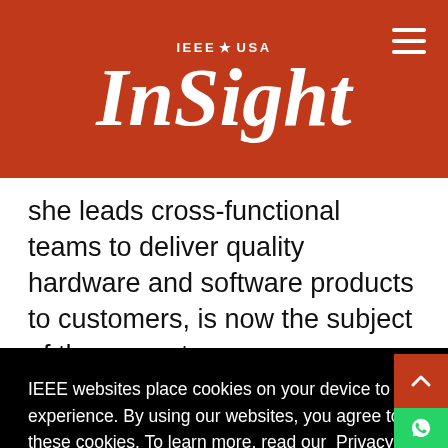IEEE USA InSight
she leads cross-functional teams to deliver quality hardware and software products to customers, is now the subject of the newest
IEEE websites place cookies on your device to give you the best user experience. By using our websites, you agree to the placement of these cookies. To learn more, read our Privacy Policy.
Accept & Close